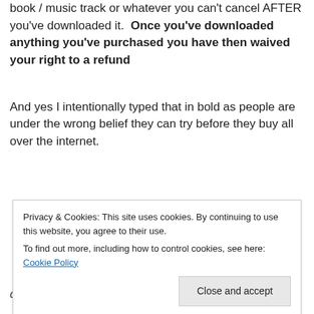book / music track or whatever you can't cancel AFTER you've downloaded it. Once you've downloaded anything you've purchased you have then waived your right to a refund
And yes I intentionally typed that in bold as people are under the wrong belief they can try before they buy all over the internet.
Privacy & Cookies: This site uses cookies. By continuing to use this website, you agree to their use. To find out more, including how to control cookies, see here: Cookie Policy
do so within 14 days from when you received